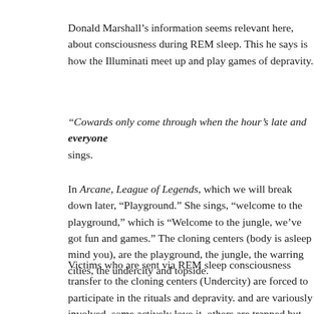Donald Marshall's information seems relevant here, about consciousness during REM sleep. This he says is how the Illuminati meet up and play games of depravity.
"Cowards only come through when the hour's late and everyone sings.
In Arcane, League of Legends, which we will break down later, "Playground." She sings, "welcome to the playground," which is "Welcome to the jungle, we've got fun and games." The cloning centers (body is asleep mind you), are the playground, the jungle, the warring cities, the undercity and topside.
Victims who are sent via REM sleep consciousness transfer to the cloning centers (Undercity) are forced to participate in the rituals and depravity. The Illuminati and are variously involved, some actively love it, others are trapped but want out.